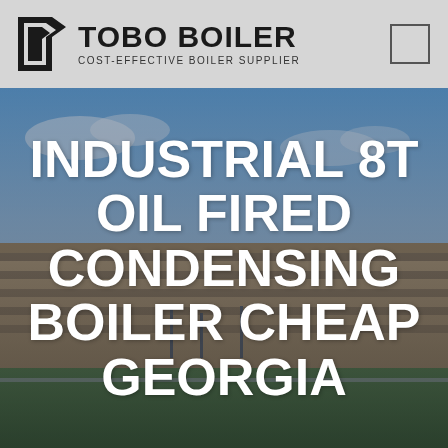[Figure (logo): TOBO BOILER logo with geometric arrow/flag icon, company name in bold black, tagline COST-EFFECTIVE BOILER SUPPLIER, and a square checkbox outline in the top right corner, on a light grey background header bar]
[Figure (photo): Aerial or wide-angle photograph of a large industrial facility / factory building with blue sky and green grass in the foreground]
INDUSTRIAL 8T OIL FIRED CONDENSING BOILER CHEAP GEORGIA